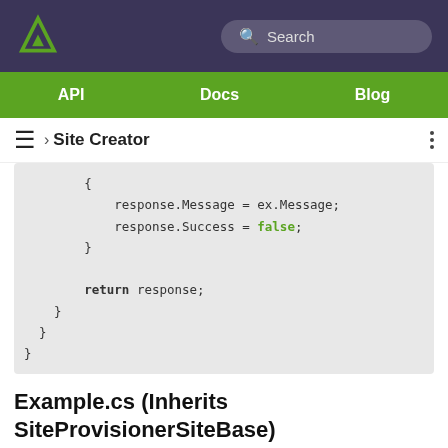Arrowhead logo | Search
API | Docs | Blog
≡ › Site Creator
[Figure (screenshot): Code snippet showing C# code: { response.Message = ex.Message; response.Success = false; } return response; } }]
Example.cs (Inherits SiteProvisionerSiteBase)
We will use an Example.cs from the previous example, but t...